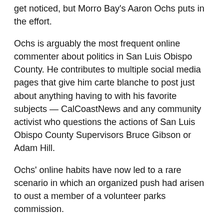get noticed, but Morro Bay’s Aaron Ochs puts in the effort.
Ochs is arguably the most frequent online commenter about politics in San Luis Obispo County. He contributes to multiple social media pages that give him carte blanche to post just about anything having to with his favorite subjects — CalCoastNews and any community activist who questions the actions of San Luis Obispo County Supervisors Bruce Gibson or Adam Hill.
Ochs’ online habits have now led to a rare scenario in which an organized push had arisen to oust a member of a volunteer parks commission.
Following a recent string of profanity-laden personal attacks on South Bay citizens, a robo-call made its way around Morro Bay this weekend suggesting residents ask their local representatives why a city official’s public Facebook page, calls a woman a “vindictive bitch.”
CalCoastNews has been unable to identify the source of